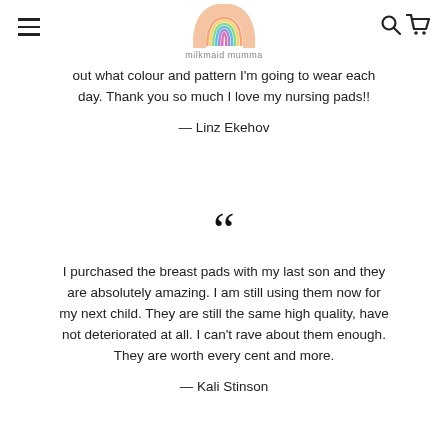milkmaid mumma
out what colour and pattern I'm going to wear each day. Thank you so much I love my nursing pads!!
— Linz Ekehov
I purchased the breast pads with my last son and they are absolutely amazing. I am still using them now for my next child. They are still the same high quality, have not deteriorated at all. I can't rave about them enough. They are worth every cent and more.
— Kali Stinson